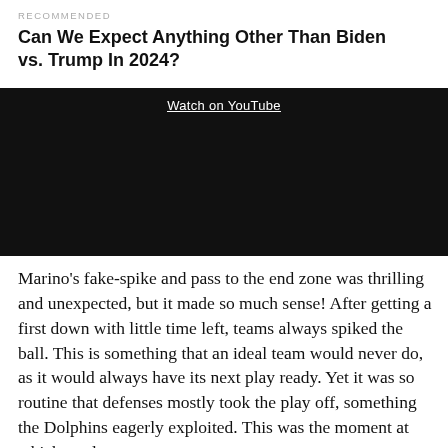RECOMMENDED
Can We Expect Anything Other Than Biden vs. Trump In 2024?
[Figure (screenshot): Black video embed block with 'Watch on YouTube' link visible at the top center]
Marino's fake-spike and pass to the end zone was thrilling and unexpected, but it made so much sense! After getting a first down with little time left, teams always spiked the ball. This is something that an ideal team would never do, as it would always have its next play ready. Yet it was so routine that defenses mostly took the play off, something the Dolphins eagerly exploited. This was the moment at which my long